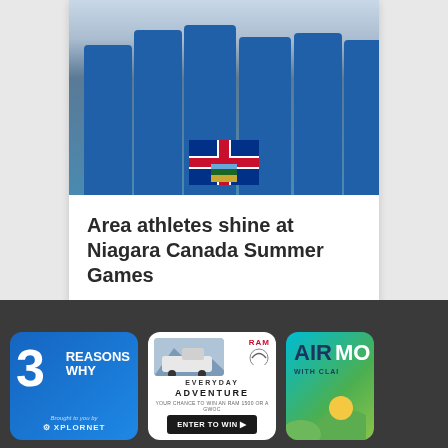[Figure (photo): Group photo of young athletes in blue Alberta jerseys holding medals and mascot toys, standing in front of an Alberta provincial flag]
Area athletes shine at Niagara Canada Summer Games
[Figure (infographic): 3 Reasons Why ad banner with blue gradient background, large number 3, text REASONS WHY, and Xplornet logo]
[Figure (infographic): RAM Everyday Adventure ad banner showing a white RAM truck, mountain silhouette, RAM logo, and ENTER TO WIN button]
[Figure (infographic): AIR MO with CLAIR partial ad banner with teal and green gradient background, partially cut off on right side]